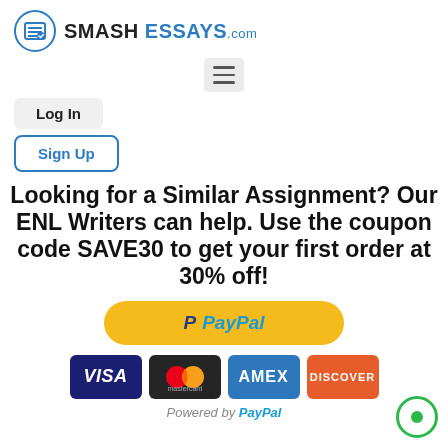[Figure (logo): SmashEssays.com logo with blue circle icon and bold text]
[Figure (other): Hamburger menu button in gray rounded box]
Log In
Sign Up
Looking for a Similar Assignment? Our ENL Writers can help. Use the coupon code SAVE30 to get your first order at 30% off!
[Figure (other): PayPal payment button in yellow/gold rounded rectangle]
[Figure (other): Payment card logos: VISA, Mastercard, AMEX, DISCOVER]
Powered by PayPal